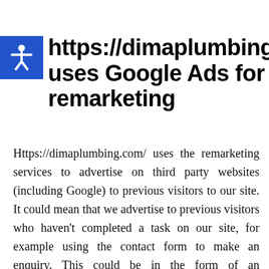Https://dimaplumbing.com/ uses Google Ads for remarketing
Https://dimaplumbing.com/ uses the remarketing services to advertise on third party websites (including Google) to previous visitors to our site. It could mean that we advertise to previous visitors who haven't completed a task on our site, for example using the contact form to make an enquiry. This could be in the form of an advertisement on the Google search results page, or a site in the Google Display Network. Third-party vendors, including Google, use